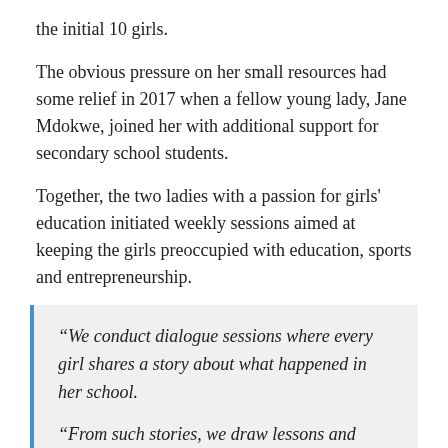the initial 10 girls.
The obvious pressure on her small resources had some relief in 2017 when a fellow young lady, Jane Mdokwe, joined her with additional support for secondary school students.
Together, the two ladies with a passion for girls' education initiated weekly sessions aimed at keeping the girls preoccupied with education, sports and entrepreneurship.
“We conduct dialogue sessions where every girl shares a story about what happened in her school. “From such stories, we draw lessons and action points aimed at strengthening the assertiveness of the beneficiaries,” Nyika says.